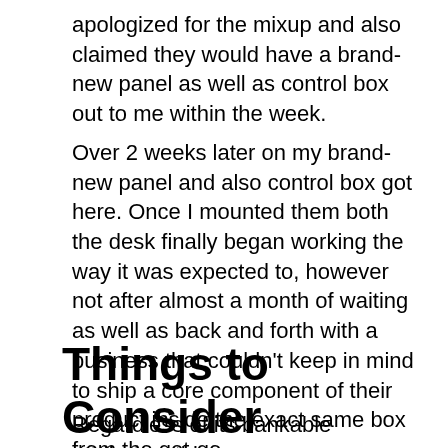apologized for the mixup and also claimed they would have a brand-new panel as well as control box out to me within the week.
Over 2 weeks later on my brand-new panel and also control box got here. Once I mounted them both the desk finally began working the way it was expected to, however not after almost a month of waiting as well as back and forth with a business that couldn’t keep in mind to ship a core component of their product inside the exact same box from the get-go.
Things to Consider
Regardless of its bankable attributes, this